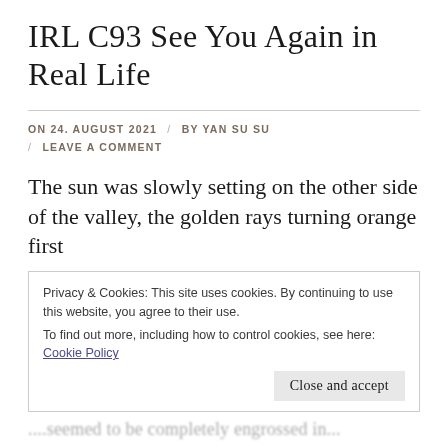IRL C93 See You Again in Real Life
ON 24. AUGUST 2021 / BY YAN SU SU / LEAVE A COMMENT
The sun was slowly setting on the other side of the valley, the golden rays turning orange first
Privacy & Cookies: This site uses cookies. By continuing to use this website, you agree to their use.
To find out more, including how to control cookies, see here: Cookie Policy
Close and accept
...seemed to be completely engrossed in...